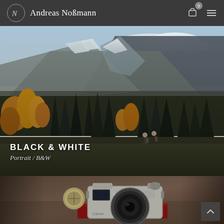Andreas Noßmann
[Figure (photo): Alpine landscape with mountains, coniferous and golden deciduous trees, two hikers standing on a rocky ledge overlooking the valley]
BLACK & WHITE
Portrait / B&W
[Figure (photo): Canon film camera resting on a red book outdoors on a rocky/earthy surface, blurred background]